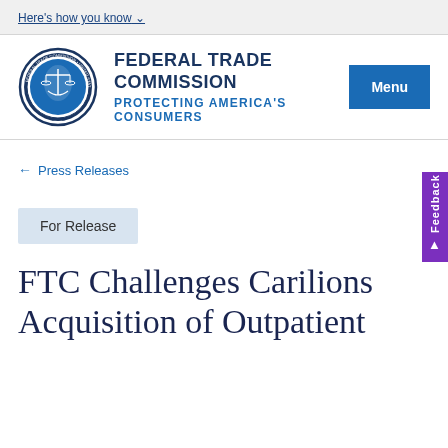Here's how you know
[Figure (logo): Federal Trade Commission seal/logo — circular emblem with scales of justice]
FEDERAL TRADE COMMISSION PROTECTING AMERICA'S CONSUMERS Menu
← Press Releases
For Release
FTC Challenges Carilions Acquisition of Outpatient